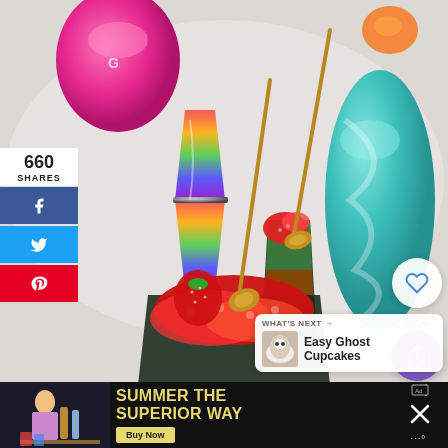[Figure (photo): Overhead food and drink photo showing colorful layered cocktail drinks in glasses with gold spoons, a rainbow jigger measuring cup, strawberries, and a vibrant pink/teal cocktail shaker on a white marble surface.]
660
SHARES
[Figure (infographic): Social share sidebar buttons: Facebook (blue), Twitter (light blue), Pinterest (red)]
664
WHAT'S NEXT → Easy Ghost Cupcakes
[Figure (photo): Advertisement banner at bottom: person in apron with beer bottles on left, text 'SUMMER THE SUPERIOR WAY' in yellow on dark background, Buy Now button]